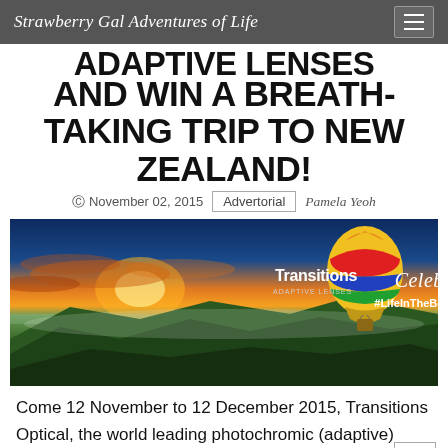Strawberry Gal Adventures of Life
ADAPTIVE LENSES AND WIN A BREATH-TAKING TRIP TO NEW ZEALAND!
© November 02, 2015  Advertorial  Pamela Yeoh
[Figure (photo): Transitions Adaptive Lenses banner with hot air balloon over scenic New Zealand mountains at sunset. Text reads: Celebrate #LifeInTheBestLight]
Come 12 November to 12 December 2015, Transitions Optical, the world leading photochromic (adaptive) lenses brand invites